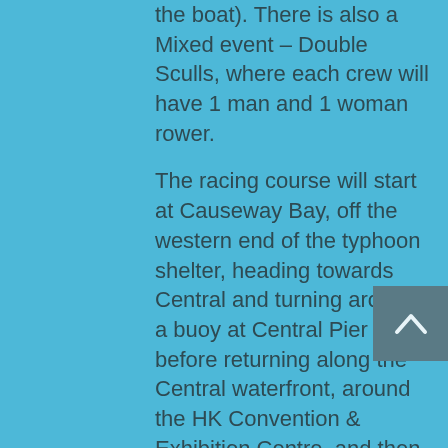the boat). There is also a Mixed event – Double Sculls, where each crew will have 1 man and 1 woman rower.
The racing course will start at Causeway Bay, off the western end of the typhoon shelter, heading towards Central and turning around a buoy at Central Pier 10, before returning along the Central waterfront, around the HK Convention & Exhibition Centre, and then back to the finish line off Kellett Island. The longer 6km course will be the same but crews will do a second loop around the buoys between the Convention Centre and Pier 10.
In Central crews will come to within 20 – 30 metres of the waterfront and